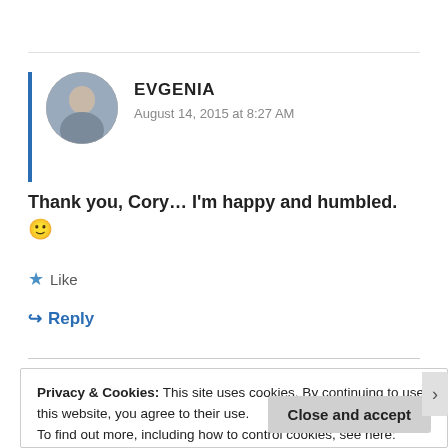EVGENIA
August 14, 2015 at 8:27 AM
Thank you, Cory… I'm happy and humbled. 🙂
Like
Reply
Privacy & Cookies: This site uses cookies. By continuing to use this website, you agree to their use.
To find out more, including how to control cookies, see here: Cookie Policy
Close and accept